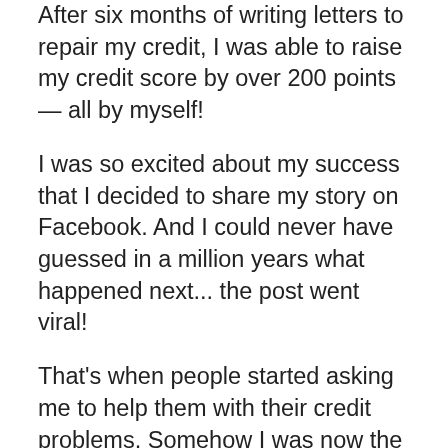After six months of writing letters to repair my credit, I was able to raise my credit score by over 200 points — all by myself!
I was so excited about my success that I decided to share my story on Facebook. And I could never have guessed in a million years what happened next... the post went viral!
That's when people started asking me to help them with their credit problems. Somehow I was now the expert.
So I took a leap of faith and started my very own credit repair company. Within one month, I was able to quit my job at the post office and focus solely on my business! And before I knew it, I had transformed myself